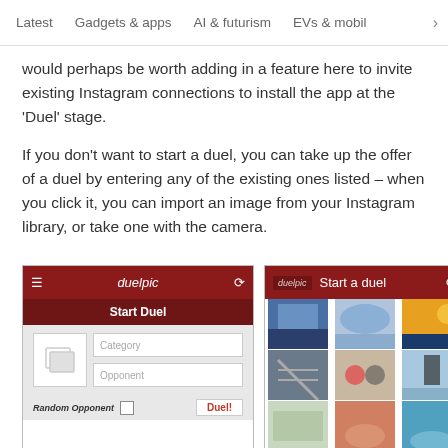Latest   Gadgets & apps   AI & futurism   EVs & mobil  >
would perhaps be worth adding in a feature here to invite existing Instagram connections to install the app at the ‘Duel’ stage.
If you don’t want to start a duel, you can take up the offer of a duel by entering any of the existing ones listed – when you click it, you can import an image from your Instagram library, or take one with the camera.
[Figure (screenshot): Left: Mobile app screenshot showing duelpic 'Start Duel' screen with Category and Opponent input fields, a photo placeholder, Random Opponent checkbox, and a Duel! button.]
[Figure (screenshot): Right: Mobile app screenshot showing duelpic 'Start a duel' screen with a grid of Instagram photos to choose from.]